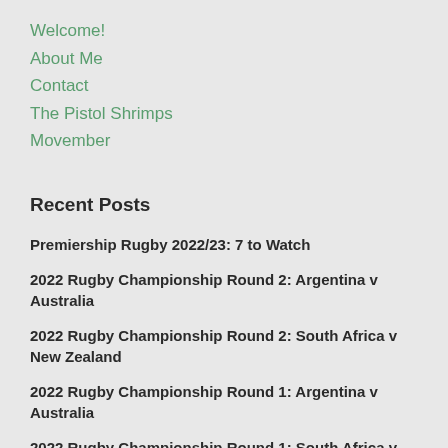Welcome!
About Me
Contact
The Pistol Shrimps
Movember
Recent Posts
Premiership Rugby 2022/23: 7 to Watch
2022 Rugby Championship Round 2: Argentina v Australia
2022 Rugby Championship Round 2: South Africa v New Zealand
2022 Rugby Championship Round 1: Argentina v Australia
2022 Rugby Championship Round 1: South Africa v New Zealand
Categories